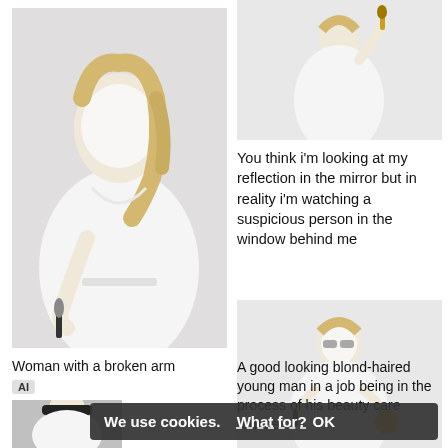[Figure (photo): Woman in white robe with face mask holding a makeup brush]
[Figure (photo): Woman in white robe holding a brush, top right]
You think i'm looking at my reflection in the mirror but in reality i'm watching a suspicious person in the window behind me
[Figure (photo): Woman in white robe with face mask holding items, bottom right]
Woman with a broken arm
AI
A good looking blond-haired young man in a job being in the process of his beauty care routine
We use cookies. What for? OK